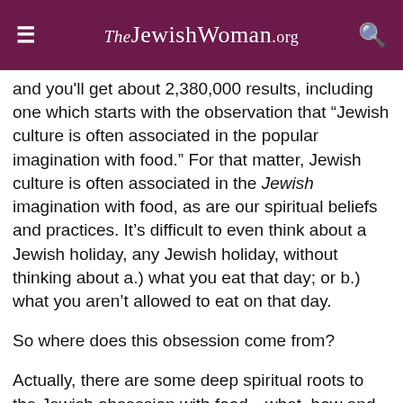TheJewishWoman.org
and you'll get about 2,380,000 results, including one which starts with the observation that “Jewish culture is often associated in the popular imagination with food.” For that matter, Jewish culture is often associated in the Jewish imagination with food, as are our spiritual beliefs and practices. It’s difficult to even think about a Jewish holiday, any Jewish holiday, without thinking about a.) what you eat that day; or b.) what you aren’t allowed to eat on that day.
So where does this obsession come from?
Actually, there are some deep spiritual roots to the Jewish obsession with food—what, how and when it